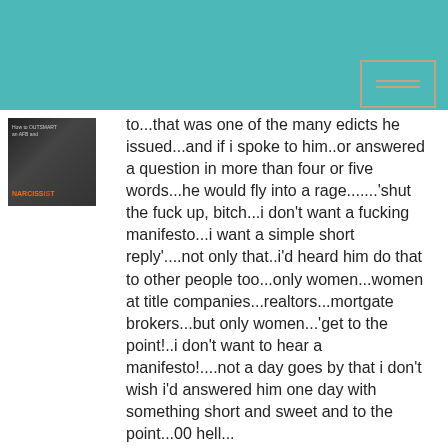[Figure (other): Teal/turquoise website header bar with a login button (two horizontal lines icon) in the upper right corner]
[Figure (photo): Book cover thumbnail showing 'How to Outsmart a Narcissist' with a person in black and white photo, orange title text on dark background]
to...that was one of the many edicts he issued...and if i spoke to him..or answered a question in more than four or five words...he would fly into a rage.......'shut the fuck up, bitch...i don't want a fucking manifesto...i want a simple short reply'....not only that..i'd heard him do that to other people too...only women...women at title companies...realtors...mortgate brokers...but only women...'get to the point!..i don't want to hear a manifesto!....not a day goes by that i don't wish i'd answered him one day with something short and sweet and to the point...00 hell...